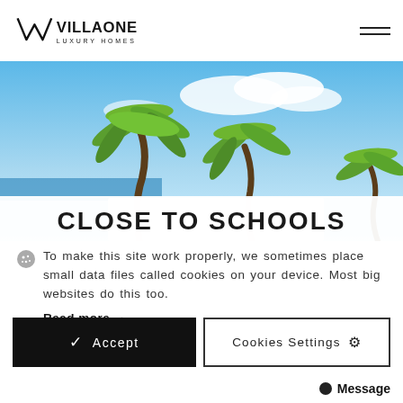VILLAONE LUXURY HOMES
[Figure (photo): Tropical beach scene with palm trees against a blue sky with white clouds, and ocean visible in the background. A white overlay panel partially visible at the bottom.]
CLOSE TO SCHOOLS
To make this site work properly, we sometimes place small data files called cookies on your device. Most big websites do this too. Read more →
Accept
Cookies Settings ⚙
● Message